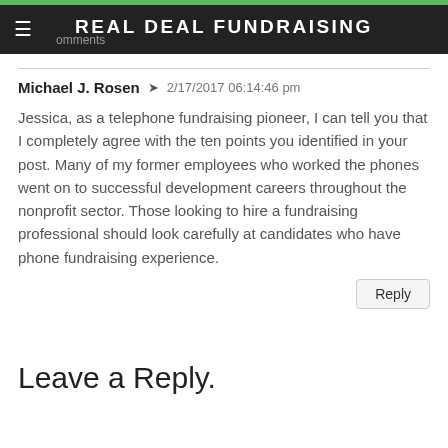REAL DEAL FUNDRAISING
Michael J. Rosen ➤  2/17/2017 06:14:46 pm
Jessica, as a telephone fundraising pioneer, I can tell you that I completely agree with the ten points you identified in your post. Many of my former employees who worked the phones went on to successful development careers throughout the nonprofit sector. Those looking to hire a fundraising professional should look carefully at candidates who have phone fundraising experience.
Reply
Leave a Reply.